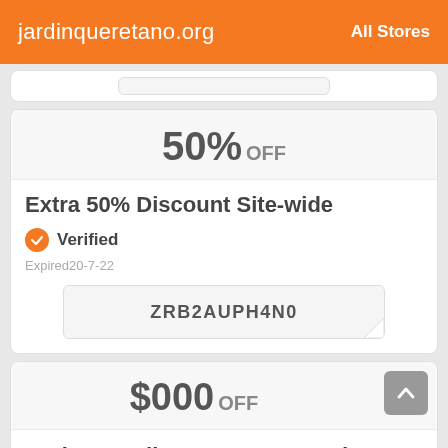jardinqueretano.org   All Stores
50% OFF
Extra 50% Discount Site-wide
Verified
Expired20-7-22
ZRB2AUPH4N0
$000 OFF
Kraken Trading Bot Automated Crypto Bot For Kraken Exchange From $000